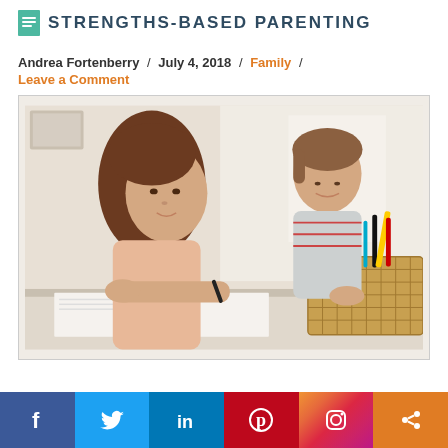STRENGTHS-BASED PARENTING
Andrea Fortenberry / July 4, 2018 / Family / Leave a Comment
[Figure (photo): A mother and young child sitting at a table together, both drawing or writing on paper. A wicker basket filled with colorful markers and pens is in the foreground. Indoor setting with light background.]
Facebook / Twitter / LinkedIn / Pinterest / Instagram / Share